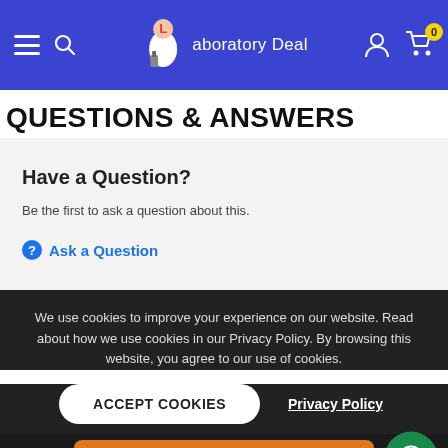[Figure (screenshot): Website header with blue background showing hamburger menu, search icon, Laboratory Deal logo with lab equipment illustration, user account icon, and shopping cart icon with badge showing 0]
QUESTIONS & ANSWERS
Have a Question?
Be the first to ask a question about this.
Ask a Question
We use cookies to improve your experience on our website. Read about how we use cookies in our Privacy Policy. By browsing this website, you agree to our use of cookies.
ACCEPT COOKIES
Privacy Policy
Add To Cart